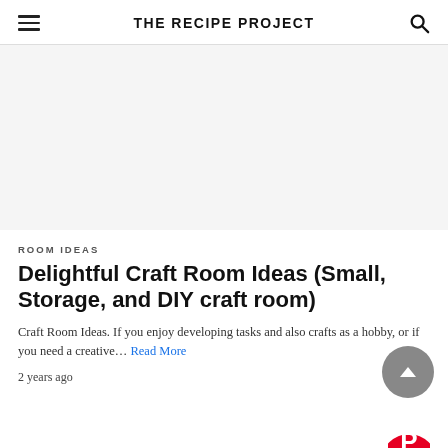THE RECIPE PROJECT
[Figure (other): Gray advertisement placeholder area]
ROOM IDEAS
Delightful Craft Room Ideas (Small, Storage, and DIY craft room)
Craft Room Ideas. If you enjoy developing tasks and also crafts as a hobby, or if you need a creative… Read More
2 years ago